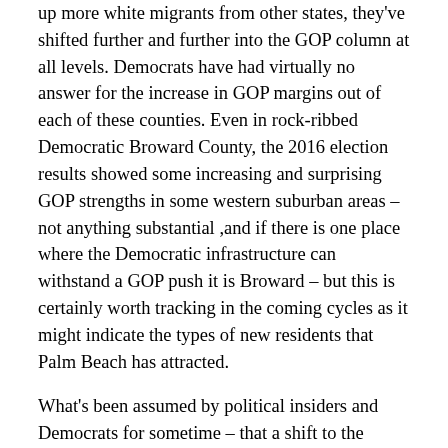up more white migrants from other states, they've shifted further and further into the GOP column at all levels. Democrats have had virtually no answer for the increase in GOP margins out of each of these counties. Even in rock-ribbed Democratic Broward County, the 2016 election results showed some increasing and surprising GOP strengths in some western suburban areas – not anything substantial ,and if there is one place where the Democratic infrastructure can withstand a GOP push it is Broward – but this is certainly worth tracking in the coming cycles as it might indicate the types of new residents that Palm Beach has attracted.
What's been assumed by political insiders and Democrats for sometime – that a shift to the Democrats was inevitable in this state because of demographic changes isn't a forgone conclusion at all as we see based on recent evidence. Florida continues to use new housing development and planned communities to stimulate its economy, therefore attracting the type of voters from up north that shifted this state towards the GOP in the first place – perhaps leading to a long-term stalemate in numbers where the institutional advantages the GOP enjoy in this state will allow them to continue to eek out narrow win after narrow win at the top of the ticket.  For national Democrats, turning Florida blue is essential as the party's